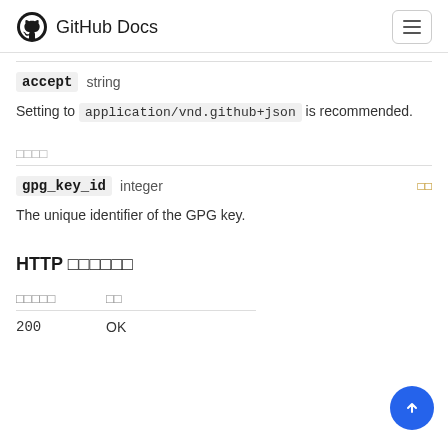GitHub Docs
accept   string
Setting to application/vnd.github+json is recommended.
패스 파라미터
gpg_key_id   integer   필수
The unique identifier of the GPG key.
HTTP 응답 코드
| 응답 코드 | 상태 |
| --- | --- |
| 200 | OK |